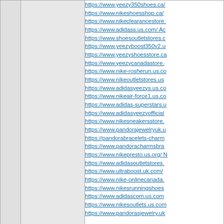| (left col) | (middle col - empty) | https://www.yeezy350shoes.ca/
https://www.nikeshoesshop.ca/
https://www.nikeclearancestore.
https://www.adidass.us.com/ Ac
https://www.shoesoutletstores.c
https://www.yeezyboost350v2.u
https://www.yeezyshoesstore.ca
https://www.yeezycanadastore.
https://www.nike-rosherun.us.co
https://www.nikeoutletstores.us
https://www.adidasyeezys.us.co
https://www.nikeair-force1.us.co
https://www.adidas-superstars.u
https://www.adidasyeezyofficial
https://www.nikesneakersstore.
https://www.pandorajewelryuk.u
https://pandorabracelets-charm
https://www.pandoracharmsbra
https://www.nikepresto.us.org/ N
https://www.adidasoutletstores.
https://www.ultraboost.uk.com/
https://www.nike-onlinecanada.
https://www.nikesrunningshoes
https://www.adidascom.us.com
https://www.nikesoutlets.us.com
https://www.pandorasjewelry.uk |
| (left col) | 01.05.2022 03:12 | ☐ 🅿profile |
| (separator) |  |  |
| (left col) | selinofell197
Member

Join Date: 26.11.2018
Comments: 139 | Ultra Boost Adidas

https://www.air-jordan6.us/ Air J
https://www.air-max90.us.com/
https://www.jordan13s.us/ Jorda
https://www.nikesfactory.us.com
https://www.pandorajewellery.u
https://www.jordans11.us.com |
https://www.yeezy350shoes.ca/
https://www.nikeshoesshop.ca/
selinofell197
Ultra Boost Adidas